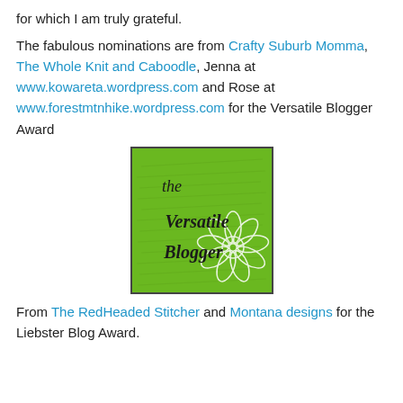for which I am truly grateful.
The fabulous nominations are from Crafty Suburb Momma, The Whole Knit and Caboodle, Jenna at www.kowareta.wordpress.com and Rose at www.forestmtnhike.wordpress.com for the Versatile Blogger Award
[Figure (illustration): The Versatile Blogger award badge — a green square with handwritten-style text reading 'the Versatile Blogger' and a white flower illustration, on a script/cursive background]
From The RedHeaded Stitcher and Montana designs for the Liebster Blog Award.